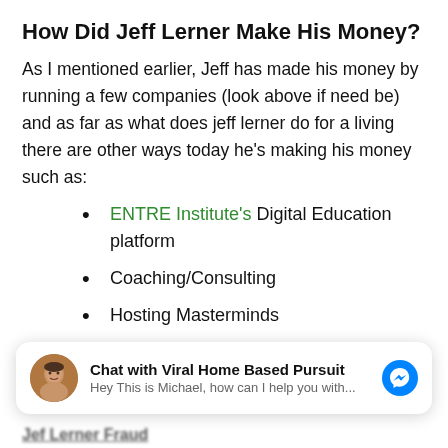How Did Jeff Lerner Make His Money?
As I mentioned earlier, Jeff has made his money by running a few companies (look above if need be) and as far as what does jeff lerner do for a living there are other ways today he's making his money such as:
ENTRE Institute's Digital Education platform
Coaching/Consulting
Hosting Masterminds
[Figure (other): Chat widget with avatar photo of Michael, text 'Chat with Viral Home Based Pursuit' and 'Hey This is Michael, how can I help you with...' with Messenger icon]
Jef Lerner Fraud